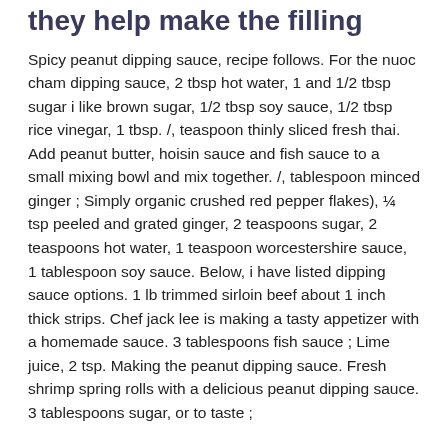they help make the filling
Spicy peanut dipping sauce, recipe follows. For the nuoc cham dipping sauce, 2 tbsp hot water, 1 and 1/2 tbsp sugar i like brown sugar, 1/2 tbsp soy sauce, 1/2 tbsp rice vinegar, 1 tbsp. /, teaspoon thinly sliced fresh thai. Add peanut butter, hoisin sauce and fish sauce to a small mixing bowl and mix together. /, tablespoon minced ginger ; Simply organic crushed red pepper flakes), ¼ tsp peeled and grated ginger, 2 teaspoons sugar, 2 teaspoons hot water, 1 teaspoon worcestershire sauce, 1 tablespoon soy sauce. Below, i have listed dipping sauce options. 1 lb trimmed sirloin beef about 1 inch thick strips. Chef jack lee is making a tasty appetizer with a homemade sauce. 3 tablespoons fish sauce ; Lime juice, 2 tsp. Making the peanut dipping sauce. Fresh shrimp spring rolls with a delicious peanut dipping sauce. 3 tablespoons sugar, or to taste ;